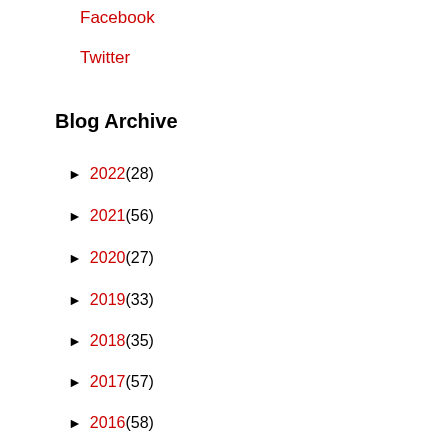Facebook
Twitter
Blog Archive
► 2022 (28)
► 2021 (56)
► 2020 (27)
► 2019 (33)
► 2018 (35)
► 2017 (57)
► 2016 (58)
► 2015 (62)
► 2014 (35)